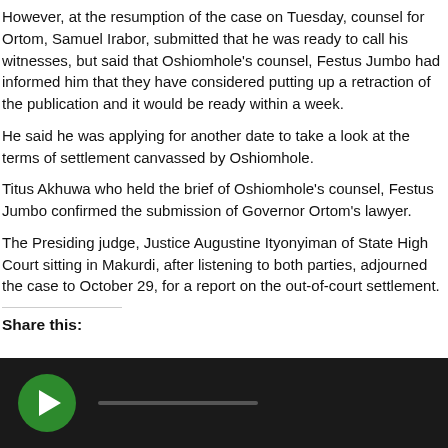However, at the resumption of the case on Tuesday, counsel for Ortom, Samuel Irabor, submitted that he was ready to call his witnesses, but said that Oshiomhole's counsel, Festus Jumbo had informed him that they have considered putting up a retraction of the publication and it would be ready within a week.
He said he was applying for another date to take a look at the terms of settlement canvassed by Oshiomhole.
Titus Akhuwa who held the brief of Oshiomhole's counsel, Festus Jumbo confirmed the submission of Governor Ortom's lawyer.
The Presiding judge, Justice Augustine Ityonyiman of State High Court sitting in Makurdi, after listening to both parties, adjourned the case to October 29, for a report on the out-of-court settlement.
Share this:
[Figure (other): Audio/media player with dark background, green circular play button with white triangle, and a progress bar]